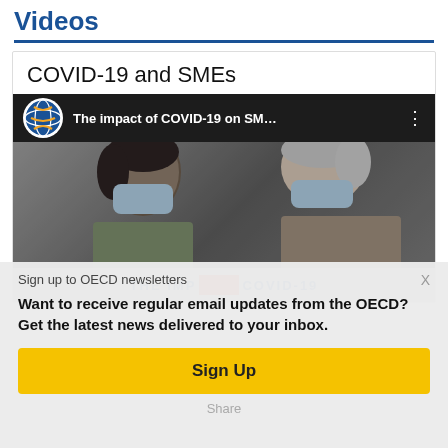Videos
COVID-19 and SMEs
[Figure (screenshot): YouTube video thumbnail showing two people wearing face masks, with OECD logo and title 'The impact of COVID-19 on SM...' in the YouTube top bar. Bottom text overlay reads 'THE IMP... COVID-19' with a red block obscuring part of the text.]
Sign up to OECD newsletters
Want to receive regular email updates from the OECD? Get the latest news delivered to your inbox.
Sign Up
Share